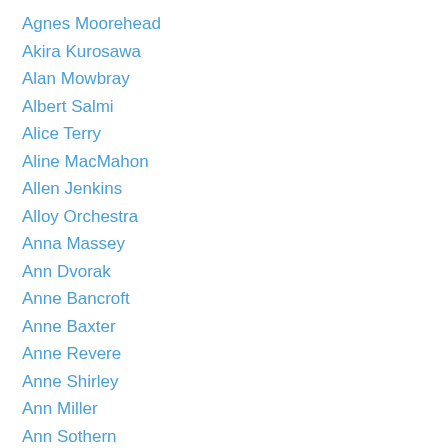Agnes Moorehead
Akira Kurosawa
Alan Mowbray
Albert Salmi
Alice Terry
Aline MacMahon
Allen Jenkins
Alloy Orchestra
Anna Massey
Ann Dvorak
Anne Bancroft
Anne Baxter
Anne Revere
Anne Shirley
Ann Miller
Ann Sothern
Anthony Quinn
Anton Walbrook
Arthur Penn
Art Linkletter